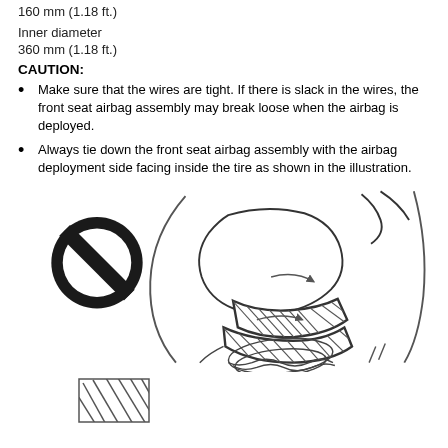160 mm (1.18 ft.)
Inner diameter
360 mm (1.18 ft.)
CAUTION:
Make sure that the wires are tight. If there is slack in the wires, the front seat airbag assembly may break loose when the airbag is deployed.
Always tie down the front seat airbag assembly with the airbag deployment side facing inside the tire as shown in the illustration.
[Figure (engineering-diagram): Illustration showing a prohibited symbol (circle with diagonal line) on the left and a technical drawing of an airbag assembly placed inside a tire with wires, showing correct deployment side facing inward. Arrows indicate orientation.]
[Figure (engineering-diagram): Small legend box with diagonal hatching pattern indicating the airbag deployment side.]